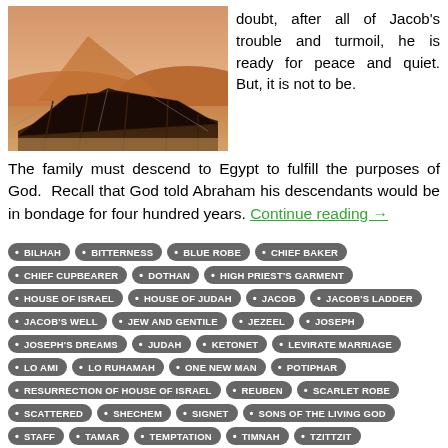[Figure (photo): A dark Bedouin tent in a sandy desert landscape with orange sand dunes in the background.]
doubt, after all of Jacob's trouble and turmoil, he is ready for peace and quiet. But, it is not to be.
The family must descend to Egypt to fulfill the purposes of God. Recall that God told Abraham his descendants would be in bondage for four hundred years. Continue reading →
BILHAH
BITTERNESS
BLUE ROBE
CHIEF BAKER
CHIEF CUPBEARER
DOTHAN
HIGH PRIEST'S GARMENT
HOUSE OF ISRAEL
HOUSE OF JUDAH
JACOB
JACOB'S LADDER
JACOB'S WELL
JEW AND GENTILE
JEZEEL
JOSEPH
JOSEPH'S DREAMS
JUDAH
KETONET
LEVIRATE MARRIAGE
LO AMI
LO RUHAMAH
ONE NEW MAN
POTIPHAR
RESURRECTION OF HOUSE OF ISRAEL
REUBEN
SCARLET ROBE
SCATTERED
SHECHEM
SIGNET
SONS OF THE LIVING GOD
STAFF
TAMAR
TEMPTATION
TIMNAH
TZITTZIT